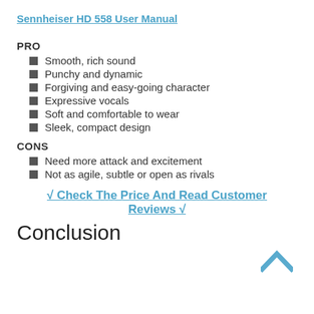Sennheiser HD 558 User Manual
PRO
Smooth, rich sound
Punchy and dynamic
Forgiving and easy-going character
Expressive vocals
Soft and comfortable to wear
Sleek, compact design
CONS
Need more attack and excitement
Not as agile, subtle or open as rivals
√ Check The Price And Read Customer Reviews √
Conclusion